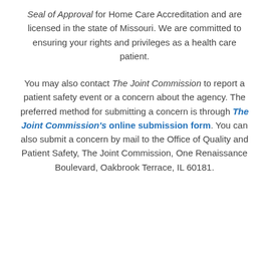Seal of Approval for Home Care Accreditation and are licensed in the state of Missouri. We are committed to ensuring your rights and privileges as a health care patient.
You may also contact The Joint Commission to report a patient safety event or a concern about the agency. The preferred method for submitting a concern is through The Joint Commission's online submission form. You can also submit a concern by mail to the Office of Quality and Patient Safety, The Joint Commission, One Renaissance Boulevard, Oakbrook Terrace, IL 60181.